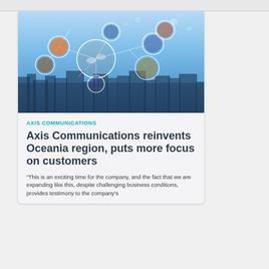[Figure (photo): Network connectivity illustration showing circular photo collages connected by lines over a city skyline background with blue sky]
AXIS COMMUNICATIONS
Axis Communications reinvents Oceania region, puts more focus on customers
"This is an exciting time for the company, and the fact that we are expanding like this, despite challenging business conditions, provides testimony to the company's